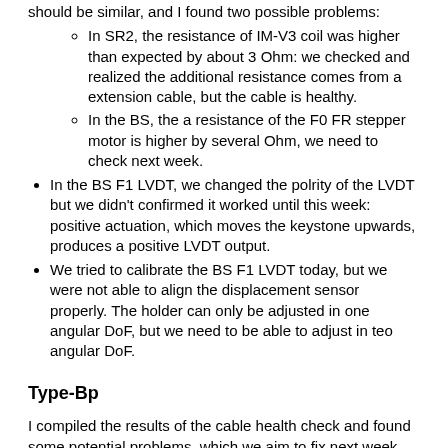should be similar, and I found two possible problems:
In SR2, the resistance of IM-V3 coil was higher than expected by about 3 Ohm: we checked and realized the additional resistance comes from a extension cable, but the cable is healthy.
In the BS, the a resistance of the F0 FR stepper motor is higher by several Ohm, we need to check next week.
In the BS F1 LVDT, we changed the polrity of the LVDT but we didn't confirmed it worked until this week: positive actuation, which moves the keystone upwards, produces a positive LVDT output.
We tried to calibrate the BS F1 LVDT today, but we were not able to align the displacement sensor properly. The holder can only be adjusted in one angular DoF, but we need to be able to adjust in teo angular DoF.
Type-Bp
I compiled the results of the cable health check and found some potential problems, which we aim to fix next week.